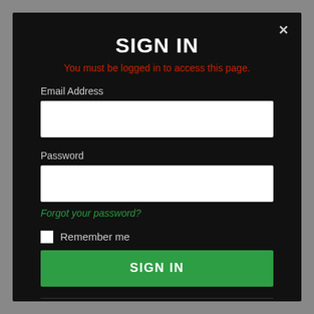SIGN IN
You must be logged in to access this page.
Email Address
[Figure (screenshot): Empty email address input field (white rectangle)]
Password
[Figure (screenshot): Empty password input field (white rectangle)]
Forgot your password?
Remember me
SIGN IN
Don't have an account?
[Figure (screenshot): Green register/sign up button at bottom (partially visible)]